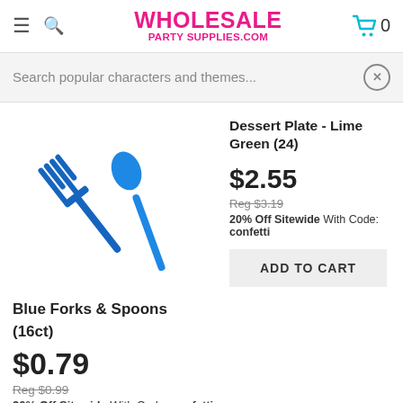WHOLESALE PARTY SUPPLIES.COM
Search popular characters and themes...
[Figure (photo): Blue plastic forks and spoons utensils on white background]
Dessert Plate - Lime Green (24)
$2.55
Reg $3.19
20% Off Sitewide With Code: confetti
ADD TO CART
Blue Forks & Spoons (16ct)
$0.79
Reg $0.99
20% Off Sitewide With Code: confetti